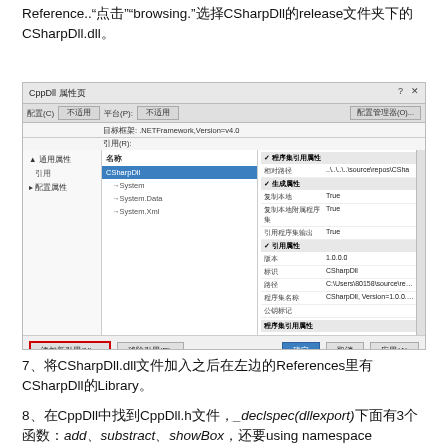Reference.."点击"browsing."选择CSharpDll的release文件夹下的CSharpDll.dll。
[Figure (screenshot): Visual Studio CppDll property dialog showing references panel with CSharpDll selected and properties panel showing assembly details. A red-outlined button '添加新引用(N)...' is visible at the bottom.]
7、将CSharpDll.dll文件加入之后在左边的References里有CSharpDll的Library。
8、在CppDll中找到CppDll.h文件，_declspec(dllexport)下面有3个函数：add、substract、showBox，还要using namespace